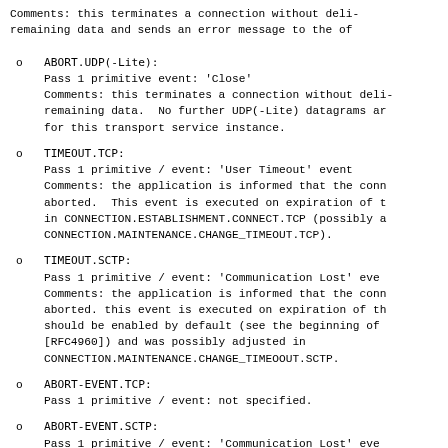Comments: this terminates a connection without deli-
remaining data and sends an error message to the of
ABORT.UDP(-Lite):
Pass 1 primitive event: 'Close'
Comments: this terminates a connection without deli-
remaining data.  No further UDP(-Lite) datagrams ar
for this transport service instance.
TIMEOUT.TCP:
Pass 1 primitive / event: 'User Timeout' event
Comments: the application is informed that the conn
aborted.  This event is executed on expiration of t
in CONNECTION.ESTABLISHMENT.CONNECT.TCP (possibly a
CONNECTION.MAINTENANCE.CHANGE_TIMEOUT.TCP).
TIMEOUT.SCTP:
Pass 1 primitive / event: 'Communication Lost' eve
Comments: the application is informed that the conn
aborted. this event is executed on expiration of th
should be enabled by default (see the beginning of
[RFC4960]) and was possibly adjusted in
CONNECTION.MAINTENANCE.CHANGE_TIMEOOUT.SCTP.
ABORT-EVENT.TCP:
Pass 1 primitive / event: not specified.
ABORT-EVENT.SCTP:
Pass 1 primitive / event: 'Communication Lost' eve
Returns: abort reason from the peer (if available)